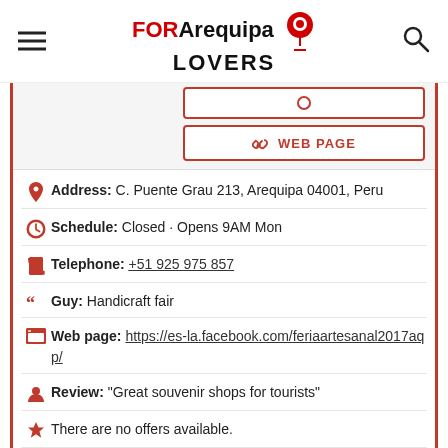FOR Arequipa LOVERS
WEB PAGE
Address: C. Puente Grau 213, Arequipa 04001, Peru
Schedule: Closed · Opens 9AM Mon
Telephone: +51 925 975 857
Guy: Handicraft fair
Web page: https://es-la.facebook.com/feriaartesanal2017aqp/
Review: "Great souvenir shops for tourists"
There are no offers available.
Near Fundo El Fierro: